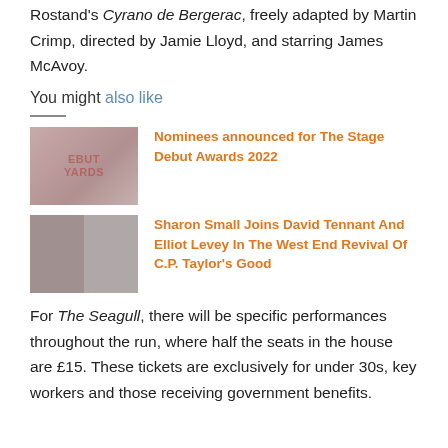Rostand's Cyrano de Bergerac, freely adapted by Martin Crimp, directed by Jamie Lloyd, and starring James McAvoy.
You might also like
[Figure (photo): Thumbnail image for Stage Debut Awards 2022 article, showing awards branding in muted pink/red tones with text DEBUT WARDS]
Nominees announced for The Stage Debut Awards 2022
[Figure (photo): Thumbnail image showing two people's faces side by side in greyscale/muted tones]
Sharon Small Joins David Tennant And Elliot Levey In The West End Revival Of C.P. Taylor's Good
For The Seagull, there will be specific performances throughout the run, where half the seats in the house are £15. These tickets are exclusively for under 30s, key workers and those receiving government benefits.